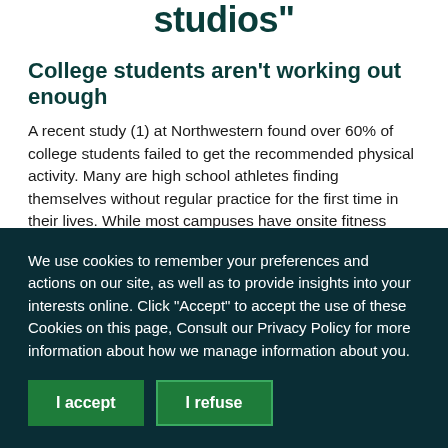studios”
College students aren’t working out enough
A recent study (1) at Northwestern found over 60% of college students failed to get the recommended physical activity. Many are high school athletes finding themselves without regular practice for the first time in their lives. While most campuses have onsite fitness centers, self-directed workouts at the school fitness center aren’t going to be the best option for everyone. It turns out,
We use cookies to remember your preferences and actions on our site, as well as to provide insights into your interests online. Click “Accept” to accept the use of these Cookies on this page, Consult our Privacy Policy for more information about how we manage information about you.
I accept
I refuse